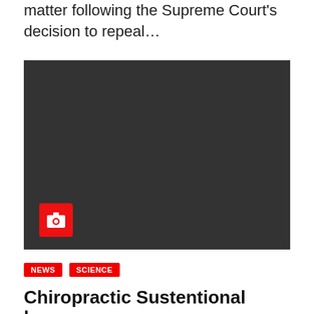matter following the Supreme Court's decision to repeal…
[Figure (photo): Dark/black image placeholder with a red camera icon in the lower left corner]
NEWS   SCIENCE
Chiropractic Sustentional…